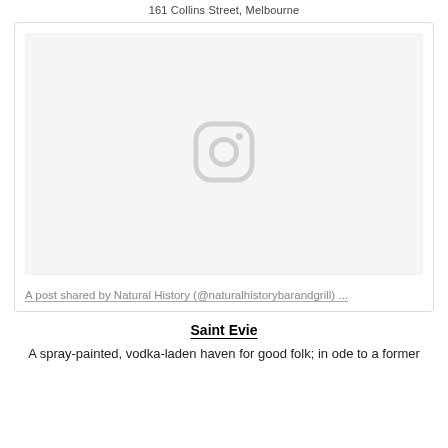161 Collins Street, Melbourne
[Figure (screenshot): Instagram embedded post placeholder showing the Instagram logo icon in light grey on a light grey background, with a caption link below reading 'A post shared by Natural History (@naturalhistorybarandgrill) ...']
A post shared by Natural History (@naturalhistorybarandgrill) ...
Saint Evie
A spray-painted, vodka-laden haven for good folk; in ode to a former